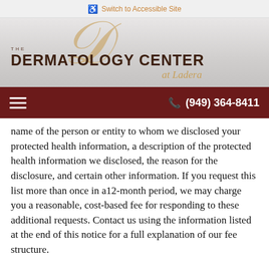Switch to Accessible Site
[Figure (logo): The Dermatology Center at Ladera logo with stylized golden script D and dark serif text]
(949) 364-8411
name of the person or entity to whom we disclosed your protected health information, a description of the protected health information we disclosed, the reason for the disclosure, and certain other information. If you request this list more than once in a12-month period, we may charge you a reasonable, cost-based fee for responding to these additional requests. Contact us using the information listed at the end of this notice for a full explanation of our fee structure.